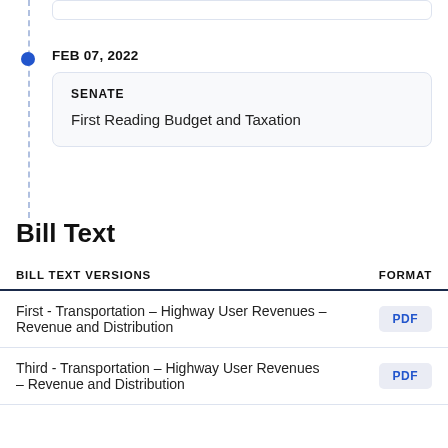FEB 07, 2022
SENATE
First Reading Budget and Taxation
Bill Text
| BILL TEXT VERSIONS | FORMAT |
| --- | --- |
| First - Transportation – Highway User Revenues – Revenue and Distribution | PDF |
| Third - Transportation – Highway User Revenues – Revenue and Distribution | PDF |